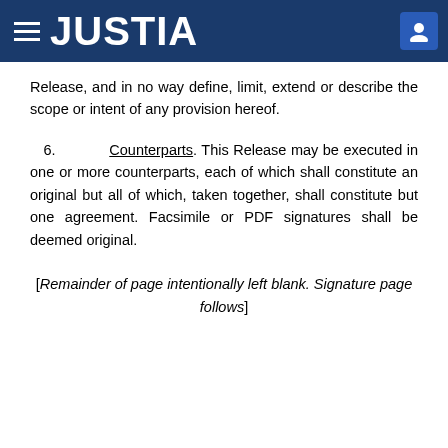JUSTIA
Release, and in no way define, limit, extend or describe the scope or intent of any provision hereof.
6. Counterparts. This Release may be executed in one or more counterparts, each of which shall constitute an original but all of which, taken together, shall constitute but one agreement. Facsimile or PDF signatures shall be deemed original.
[Remainder of page intentionally left blank. Signature page follows]